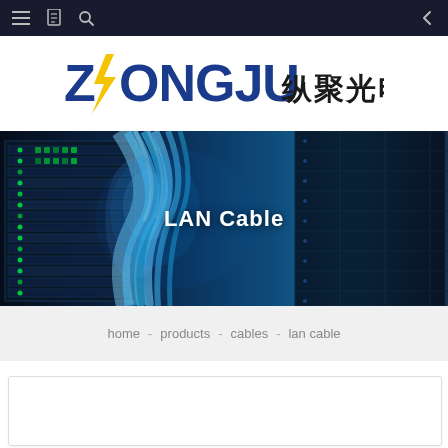Navigation bar with menu, bookmark, search icons and back arrow
[Figure (logo): ZONGJU 纵聚光电 company logo with blue text and yellow lightning bolt accent]
[Figure (photo): LAN Cable hero banner showing server racks and blue ethernet cables in a data center]
LAN Cable
home  -  products  -  cables  -  lan cable
[Figure (other): White content card placeholder area]